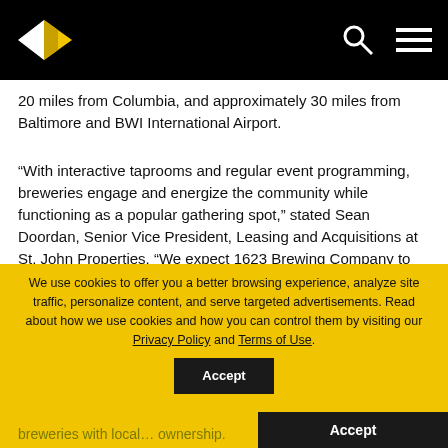St. John Properties navigation bar with logo, search, and menu icons
20 miles from Columbia, and approximately 30 miles from Baltimore and BWI International Airport.
“With interactive taprooms and regular event programming, breweries engage and energize the community while functioning as a popular gathering spot,” stated Sean Doordan, Senior Vice President, Leasing and Acquisitions at St. John Properties. “We expect 1623 Brewing Company to quickly evolve into a destination in Carroll County to the benefit of our entire tenant base at Liberty Exchange, based on the tremendous confidence we have in its own…
breweries with local… ownership.
We use cookies to offer you a better browsing experience, analyze site traffic, personalize content, and serve targeted advertisements. Read about how we use cookies and how you can control them by visiting our Privacy Policy and Terms of Use.
St. John Properties, Inc., founded in 1971, owns and has